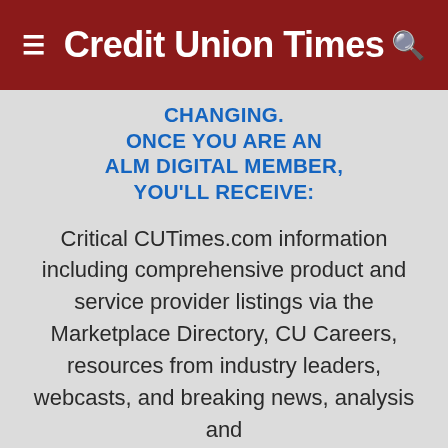Credit Union Times
CHANGING.
ONCE YOU ARE AN ALM DIGITAL MEMBER, YOU'LL RECEIVE:
Critical CUTimes.com information including comprehensive product and service provider listings via the Marketplace Directory, CU Careers, resources from industry leaders, webcasts, and breaking news, analysis and